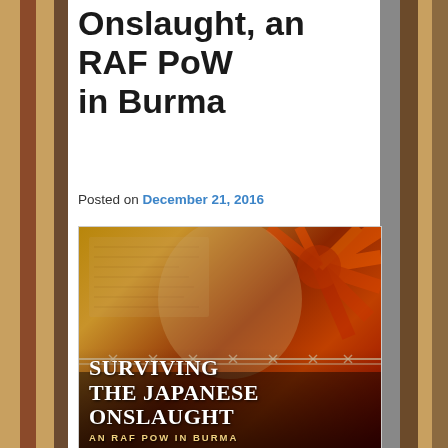Onslaught, an RAF PoW in Burma
Posted on December 21, 2016
[Figure (photo): Book cover of 'Surviving the Japanese Onslaught – An RAF PoW in Burma'. Shows a young RAF serviceman in uniform against a backdrop of the Japanese rising sun flag and barbed wire. Text on cover reads: SURVIVING THE JAPANESE ONSLAUGHT, AN RAF PoW IN BURMA.]